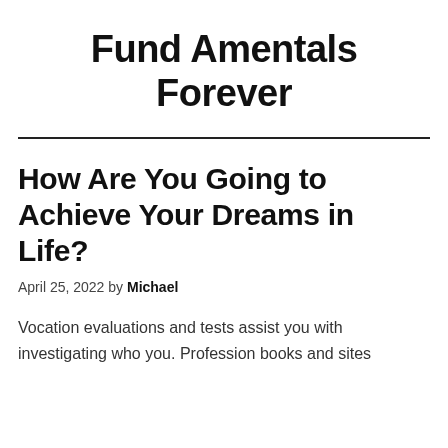Fund Amentals Forever
How Are You Going to Achieve Your Dreams in Life?
April 25, 2022 by Michael
Vocation evaluations and tests assist you with investigating who you. Profession books and sites